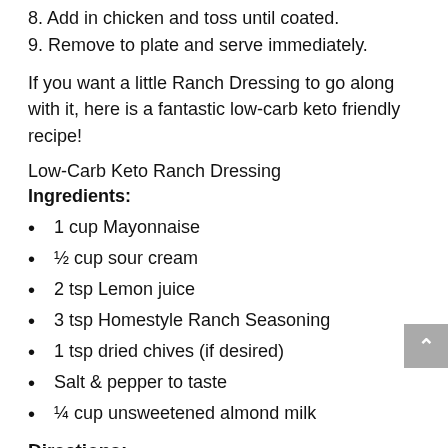8. Add in chicken and toss until coated.
9. Remove to plate and serve immediately.
If you want a little Ranch Dressing to go along with it, here is a fantastic low-carb keto friendly recipe!
Low-Carb Keto Ranch Dressing
Ingredients:
1 cup Mayonnaise
½ cup sour cream
2 tsp Lemon juice
3 tsp Homestyle Ranch Seasoning
1 tsp dried chives (if desired)
Salt & pepper to taste
¼ cup unsweetened almond milk
Directions: